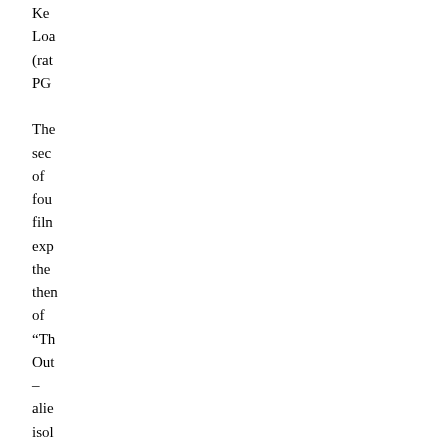Ke
Loa
(rat
PG

The
sec
of
fou
filn
exr
the
then
of
"Th
Out
–
alie
isol
exc
and
"th
oth